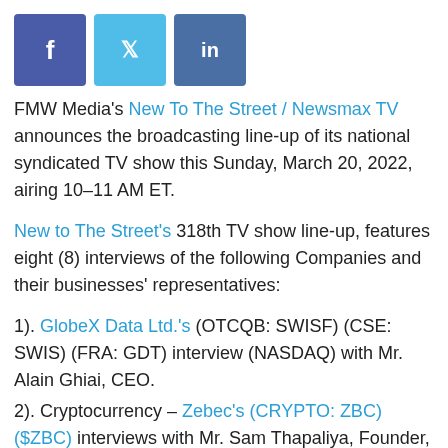[Figure (other): Social media share buttons: Facebook (purple), Twitter (blue), LinkedIn (dark blue)]
FMW Media's New To The Street / Newsmax TV announces the broadcasting line-up of its national syndicated TV show this Sunday, March 20, 2022, airing 10–11 AM ET.
New to The Street's 318th TV show line-up, features eight (8) interviews of the following Companies and their businesses' representatives:
1). GlobeX Data Ltd.'s (OTCQB: SWISF) (CSE: SWIS) (FRA: GDT) interview (NASDAQ) with Mr. Alain Ghiai, CEO.
2). Cryptocurrency – Zebec's (CRYPTO: ZBC) ($ZBC) interviews with Mr. Sam Thapaliya, Founder, and Mr. Simon Babakhain, Head of Growth.
3). Epazz, Inc.'s (OTCPINK: EPAZ) interview, Mr. Michael Manchon, Vice-president Communications.